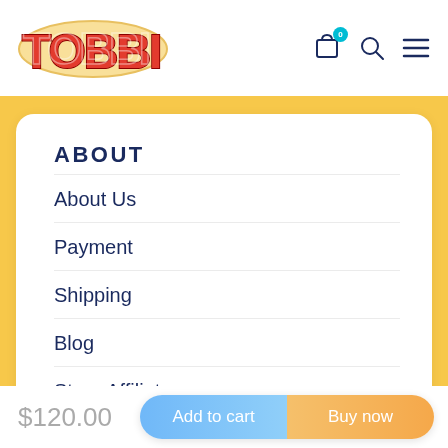[Figure (logo): Tobbi brand logo with red bubble letters outlined in gold/yellow on white background]
ABOUT
About Us
Payment
Shipping
Blog
Store Affiliates
$120.00
Add to cart
Buy now